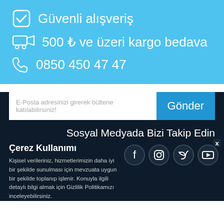✓ Güvenli alışveriş
🚚 500 ₺ ve üzeri kargo bedava
📞 0850 450 47 47
E-Posta adresinizi girerek bültene katılabilirsiniz!
Gönder
Sosyal Medyada Bizi Takip Edin
Çerez Kullanımı
[Figure (illustration): Social media icons: Facebook, Instagram, Twitter, YouTube in dark circular buttons]
Kişisel verileriniz, hizmetlerimizin daha iyi bir şekilde sunulması için mevzuata uygun bir şekilde toplanıp işlenir. Konuyla ilgili detaylı bilgi almak için Gizlilik Politikamızı inceleyebilirsiniz.